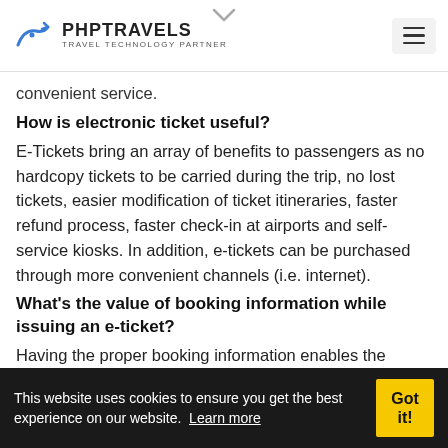PHPTRAVELS TRAVEL TECHNOLOGY PARTNER
convenient service.
How is electronic ticket useful?
E-Tickets bring an array of benefits to passengers as no hardcopy tickets to be carried during the trip, no lost tickets, easier modification of ticket itineraries, faster refund process, faster check-in at airports and self-service kiosks. In addition, e-tickets can be purchased through more convenient channels (i.e. internet).
What's the value of booking information while issuing an e-ticket?
Having the proper booking information enables the airline
This website uses cookies to ensure you get the best experience on our website. Learn more